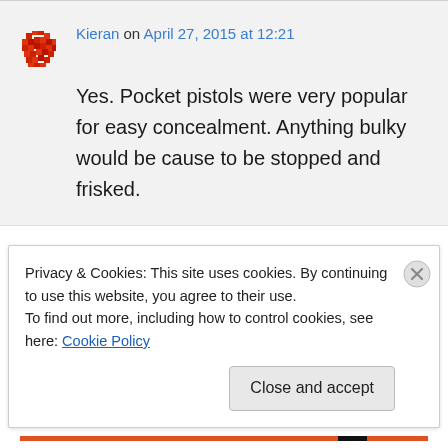Kieran on April 27, 2015 at 12:21
Yes. Pocket pistols were very popular for easy concealment. Anything bulky would be cause to be stopped and frisked.
Privacy & Cookies: This site uses cookies. By continuing to use this website, you agree to their use.
To find out more, including how to control cookies, see here: Cookie Policy
Close and accept